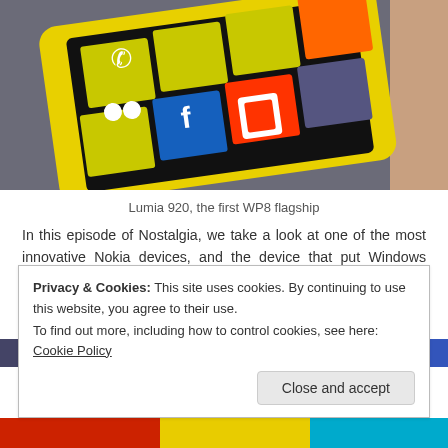[Figure (photo): Nokia Lumia 920 smartphone with yellow Windows Phone 8 interface showing live tiles including phone, Facebook, Office, and other apps, held in hand against gray background]
Lumia 920, the first WP8 flagship
In this episode of Nostalgia, we take a look at one of the most innovative Nokia devices, and the device that put Windows Phone 8 on the map; The Lumia 920. Still one of my favourite flagships in terms of design too, you can check it out in its full glossy yellow glory in the video below.
[Figure (photo): Partial view of colorful Nokia Lumia phones in blue and other colors]
Privacy & Cookies: This site uses cookies. By continuing to use this website, you agree to their use.
To find out more, including how to control cookies, see here: Cookie Policy
[Figure (photo): Bottom strip showing colorful Nokia Lumia devices in red, yellow, and cyan]